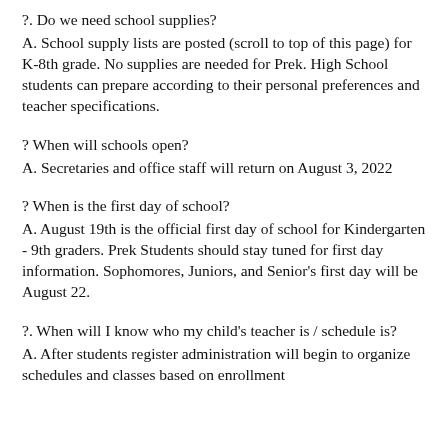?. Do we need school supplies?
A. School supply lists are posted (scroll to top of this page) for K-8th grade. No supplies are needed for Prek. High School students can prepare according to their personal preferences and teacher specifications.
? When will schools open?
A. Secretaries and office staff will return on August 3, 2022
? When is the first day of school?
A. August 19th is the official first day of school for Kindergarten - 9th graders. Prek Students should stay tuned for first day information. Sophomores, Juniors, and Senior's first day will be August 22.
?. When will I know who my child's teacher is / schedule is?
A. After students register administration will begin to organize schedules and classes based on enrollment